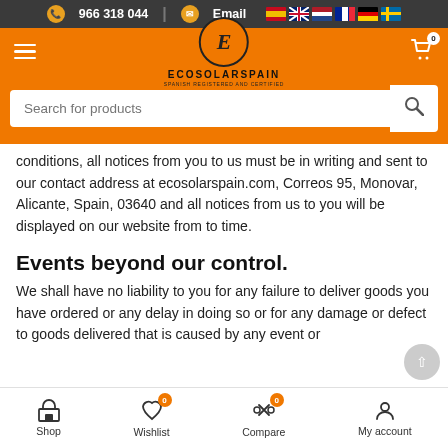966 318 044 | Email
[Figure (logo): EcoSolarSpain logo with stylized E in circle, text ECOSOLARSPAIN SPANISH REGISTERED AND CERTIFIED]
Search for products
conditions, all notices from you to us must be in writing and sent to our contact address at ecosolarspain.com, Correos 95, Monovar, Alicante, Spain, 03640 and all notices from us to you will be displayed on our website from to time.
Events beyond our control.
We shall have no liability to you for any failure to deliver goods you have ordered or any delay in doing so or for any damage or defect to goods delivered that is caused by any event or circumstance beyond our reasonable control including
Shop | Wishlist 0 | Compare 0 | My account